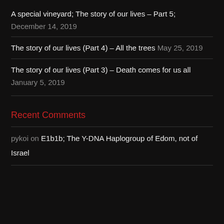A special vineyard; The story of our lives – Part 5;
December 14, 2019
The story of our lives (Part 4) – All the trees May 25, 2019
The story of our lives (Part 3) – Death comes for us all
January 5, 2019
Recent Comments
pykoi on E1b1b; The Y-DNA Haplogroup of Edom, not of Israel